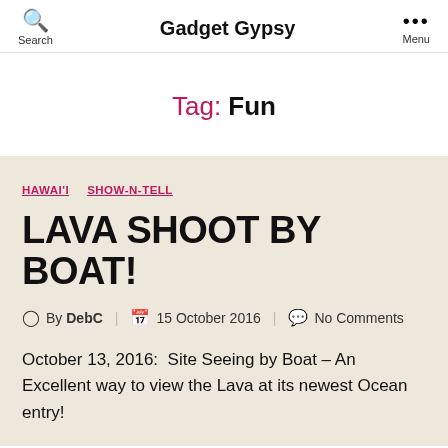Gadget Gypsy
Tag: Fun
HAWAI'I   SHOW-N-TELL
LAVA SHOOT BY BOAT!
By DebC   15 October 2016   No Comments
October 13, 2016:  Site Seeing by Boat – An Excellent way to view the Lava at its newest Ocean entry!